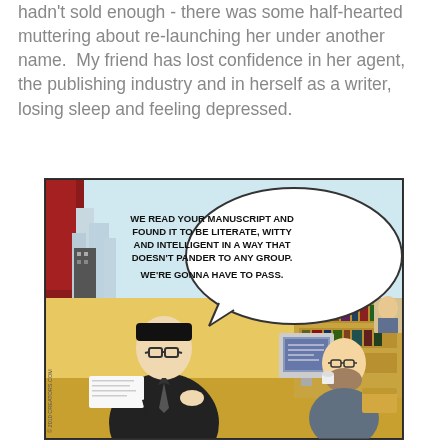hadn't sold enough - there was some half-hearted muttering about re-launching her under another name.  My friend has lost confidence in her agent, the publishing industry and in herself as a writer, losing sleep and feeling depressed.
[Figure (illustration): A comic strip showing a writer sitting across a desk from a publisher/editor. A speech bubble reads: 'WE READ YOUR MANUSCRIPT AND FOUND IT TO BE LITERATE, WITTY AND INTELLIGENT IN A WAY THAT DOESN'T PANDER TO ANY GROUP. WE'RE GONNA HAVE TO PASS.' The setting is an office with bookshelves, a computer, and a city view through the window. Copyright notice reads '2010 CREATORS.COM' or similar.]